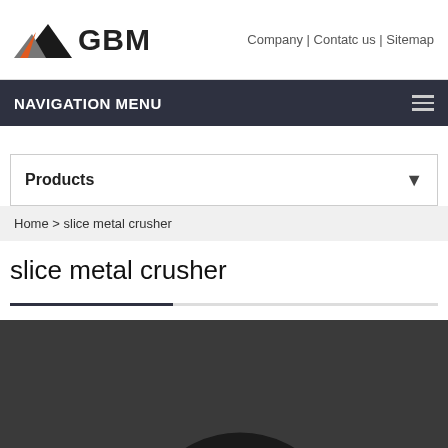GBM | Company | Contatc us | Sitemap
NAVIGATION MENU
Products
Home > slice metal crusher
slice metal crusher
[Figure (photo): Dark grey background with a partial circular arc/curve visible at bottom center, suggesting an image of a metal crusher machine loading]